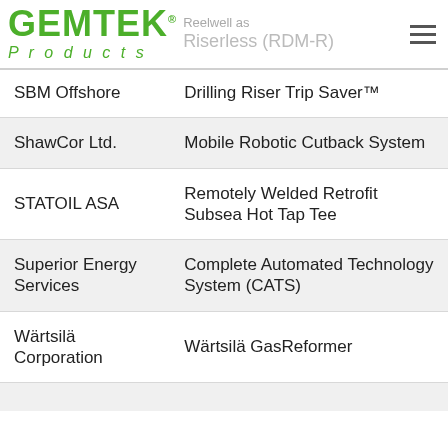GEMTEK Products — Reelwell Drilling Method Riserless (RDM-R)
| Company | Product/Technology |
| --- | --- |
| SBM Offshore | Drilling Riser Trip Saver™ |
| ShawCor Ltd. | Mobile Robotic Cutback System |
| STATOIL ASA | Remotely Welded Retrofit Subsea Hot Tap Tee |
| Superior Energy Services | Complete Automated Technology System (CATS) |
| Wärtsilä Corporation | Wärtsilä GasReformer |